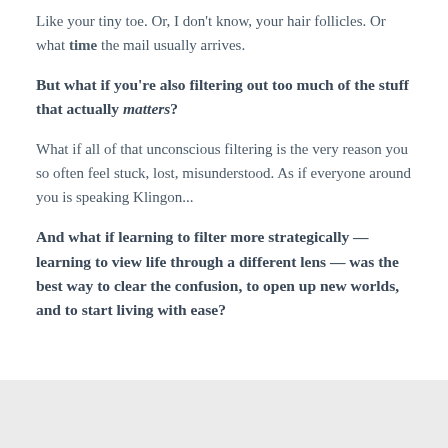Like your tiny toe. Or, I don't know, your hair follicles. Or what time the mail usually arrives.
But what if you're also filtering out too much of the stuff that actually matters?
What if all of that unconscious filtering is the very reason you so often feel stuck, lost, misunderstood. As if everyone around you is speaking Klingon...
And what if learning to filter more strategically — learning to view life through a different lens — was the best way to clear the confusion, to open up new worlds, and to start living with ease?